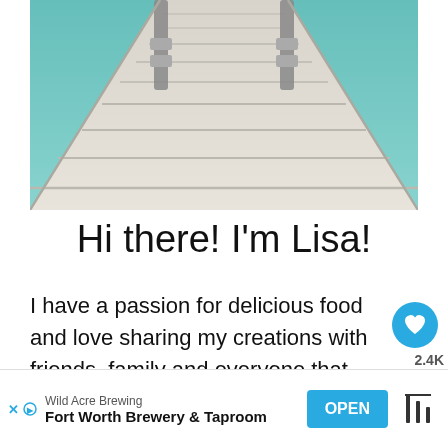[Figure (photo): A wooden dock/pier extending over turquoise-green water, viewed from above looking down the length of the dock. The wood planks are weathered and pale grey/white. The water is teal-blue visible on both sides.]
Hi there! I'm Lisa!
I have a passion for delicious food and love sharing my creations with friends, family and everyone that loves a home-
[Figure (other): Advertisement bar at the bottom: Wild Acre Brewing, Fort Worth Brewery & Taproom, with OPEN button]
Wild Acre Brewing
Fort Worth Brewery & Taproom